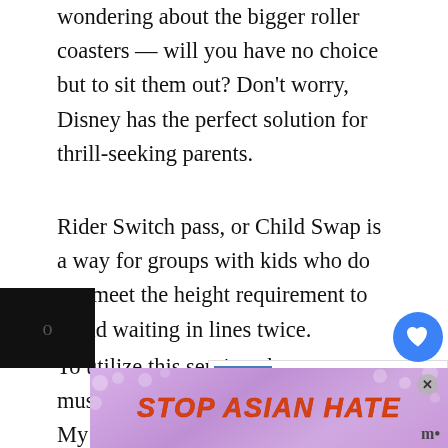wondering about the bigger roller coasters — will you have no choice but to sit them out? Don't worry, Disney has the perfect solution for thrill-seeking parents.
Rider Switch pass, or Child Swap is a way for groups with kids who do not meet the height requirement to avoid waiting in lines twice.
To utilize this service, the group must set up a rider switch with the My Disney Experience app before getting in line. When the first set of...
[Figure (screenshot): Social media widget showing a blue heart/like button with count 19, and a share button below]
[Figure (screenshot): What's Next promotional box showing 'Useful Tips & Best Rides ...' with a thumbnail image]
[Figure (screenshot): Stop Asian Hate advertisement banner with floral background and illustrated character]